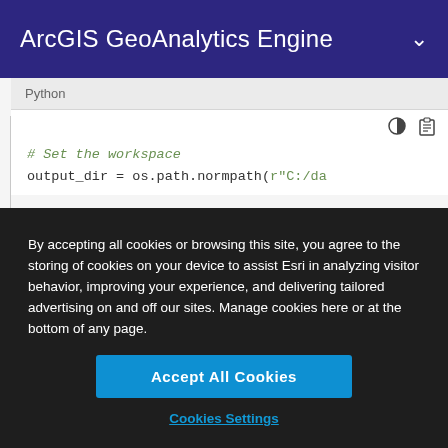ArcGIS GeoAnalytics Engine
[Figure (screenshot): Code editor panel showing Python tab with code: # Set the workspace and output_dir = os.path.normpath(r"C:/da]
By accepting all cookies or browsing this site, you agree to the storing of cookies on your device to assist Esri in analyzing visitor behavior, improving your experience, and delivering tailored advertising on and off our sites. Manage cookies here or at the bottom of any page.
Accept All Cookies
Cookies Settings